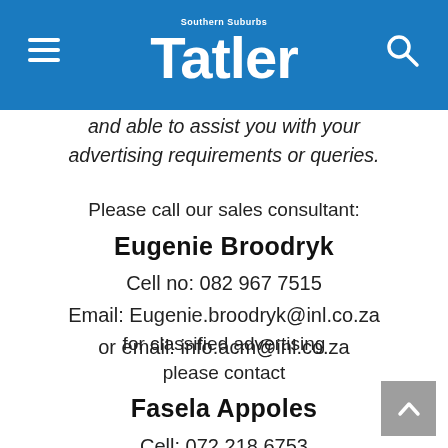Southern Suburbs Tatler
and able to assist you with your advertising requirements or queries.
Please call our sales consultant:
Eugenie Broodryk
Cell no: 082 967 7515
Email: Eugenie.broodryk@inl.co.za
or email: info.acm@inl.co.za
for classified advertising please contact
Fasela Appoles
Cell: 072 218 6753
Email: fasela.appoles@inl.co.za